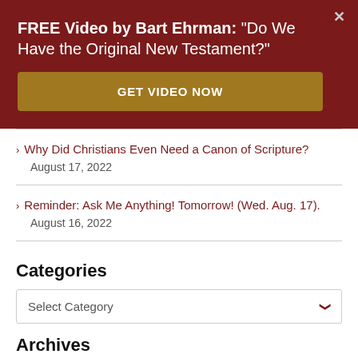FREE Video by Bart Ehrman: "Do We Have the Original New Testament?"
GET VIDEO NOW
Why Did Christians Even Need a Canon of Scripture?
August 17, 2022
Reminder: Ask Me Anything! Tomorrow! (Wed. Aug. 17).
August 16, 2022
Categories
Select Category
Archives